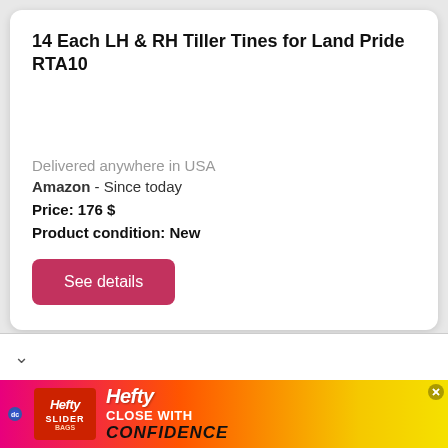14 Each LH & RH Tiller Tines for Land Pride RTA10
Delivered anywhere in USA
Amazon - Since today
Price: 176 $
Product condition: New
See details
[Figure (screenshot): Hefty Slider advertisement banner at bottom of page showing Hefty logo, Slider Bags product, and text 'CLOSE WITH CONFIDENCE']